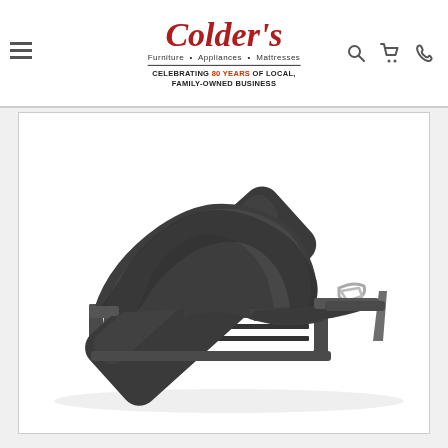Colder's Furniture • Appliances • Mattresses — CELEBRATING 80 YEARS OF LOCAL, FAMILY-OWNED BUSINESS
[Figure (photo): Adjustable bed base/foundation shown at an angle with the head section elevated at approximately 45 degrees and foot section slightly raised, dark gray metal frame with tapered legs, slat support system visible underneath, chrome handle on the side, white background product photo.]